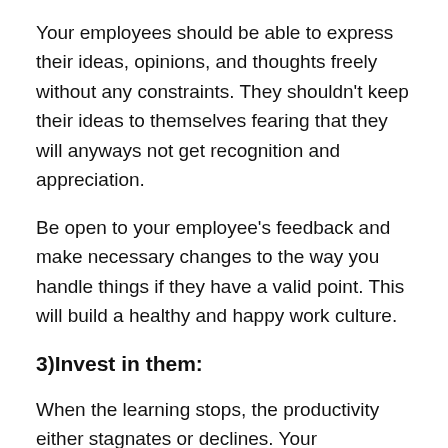Your employees should be able to express their ideas, opinions, and thoughts freely without any constraints. They shouldn't keep their ideas to themselves fearing that they will anyways not get recognition and appreciation.
Be open to your employee's feedback and make necessary changes to the way you handle things if they have a valid point. This will build a healthy and happy work culture.
3)Invest in them:
When the learning stops, the productivity either stagnates or declines. Your employees must be given enough learning opportunities to gain more exposure and upgrade their skills so that they can perform better at their job.